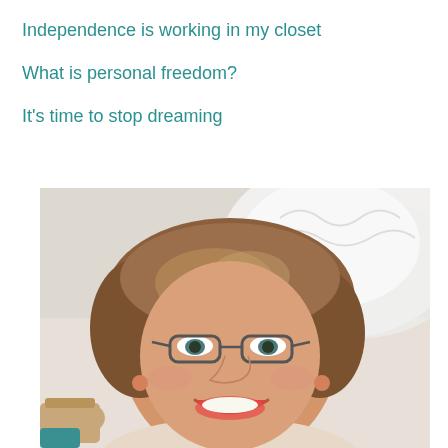Independence is working in my closet
What is personal freedom?
It's time to stop dreaming
[Figure (photo): A smiling woman with curly brown hair and glasses, wearing a cheerful expression, with a light/white background behind her.]